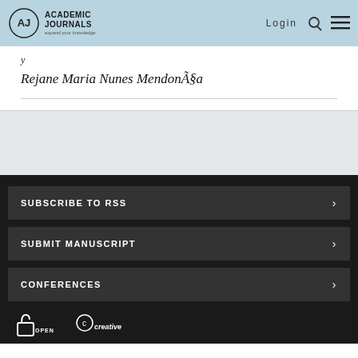Academic Journals — Login
y
Rejane Maria Nunes MendonÃ§a
SUBSCRIBE TO RSS
SUBMIT MANUSCRIPT
CONFERENCES
[Figure (logo): Open Access and Creative Commons logos at bottom of dark footer section]